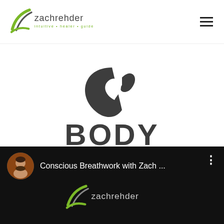[Figure (logo): Zach Rehder logo with text 'zachrehder intuitive • healer • guide' and a stylized road/path icon in green and grey]
[Figure (logo): Body by Nature logo: dark grey abstract leaf/flame icon above bold text 'BODY' and 'BY NATURE']
[Figure (screenshot): YouTube-style video bar on black background showing circular avatar of a bearded man, text 'Conscious Breathwork with Zach ...' and three-dot menu, with zachrehder logo partially visible at bottom]